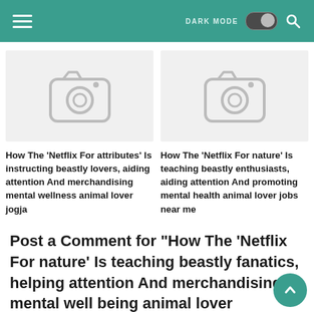DARK MODE [toggle] [search]
[Figure (screenshot): Placeholder camera icon image for first article]
How The ‘Netflix For attributes’ Is instructing beastly lovers, aiding attention And merchandising mental wellness animal lover jogja
[Figure (screenshot): Placeholder camera icon image for second article]
How The ‘Netflix For nature’ Is teaching beastly enthusiasts, aiding attention And promoting mental health animal lover jobs near me
Post a Comment for "How The ‘Netflix For nature’ Is teaching beastly fanatics, helping attention And merchandising mental well being animal lover